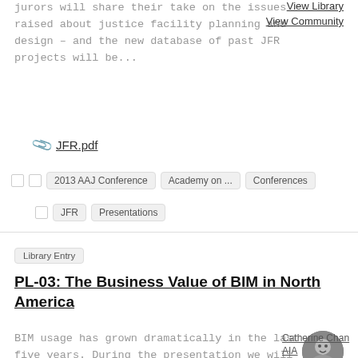jurors will share their take on the issues raised about justice facility planning and design – and the new database of past JFR projects will be...
View Library
View Community
🔗 JFR.pdf
2013 AAJ Conference   Academy on ...   Conferences
JFR   Presentations
Library Entry
PL-03: The Business Value of BIM in North America
BIM usage has grown dramatically in the last five years. During the presentation we will highlight McGraw-Hill findings on the type
Catherine Chan AIA
Added 11-25-2013